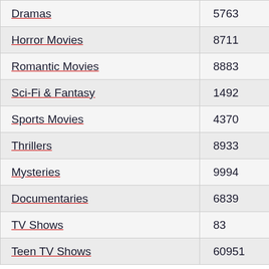| Category | Count |
| --- | --- |
| Dramas | 5763 |
| Horror Movies | 8711 |
| Romantic Movies | 8883 |
| Sci-Fi & Fantasy | 1492 |
| Sports Movies | 4370 |
| Thrillers | 8933 |
| Mysteries | 9994 |
| Documentaries | 6839 |
| TV Shows | 83 |
| Teen TV Shows | 60951 |